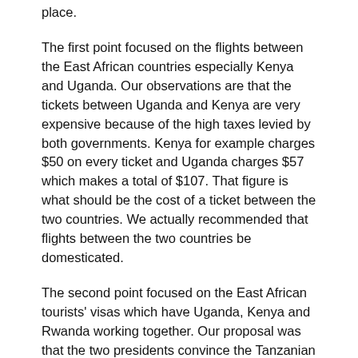place.
The first point focused on the flights between the East African countries especially Kenya and Uganda. Our observations are that the tickets between Uganda and Kenya are very expensive because of the high taxes levied by both governments. Kenya for example charges $50 on every ticket and Uganda charges $57 which makes a total of $107. That figure is what should be the cost of a ticket between the two countries. We actually recommended that flights between the two countries be domesticated.
The second point focused on the East African tourists' visas which have Uganda, Kenya and Rwanda working together. Our proposal was that the two presidents convince the Tanzanian leadership to join the good arrangements. Many tourists are finding it easy paying $100 for a visa that covers the above three nations which allows them to move back and forth.